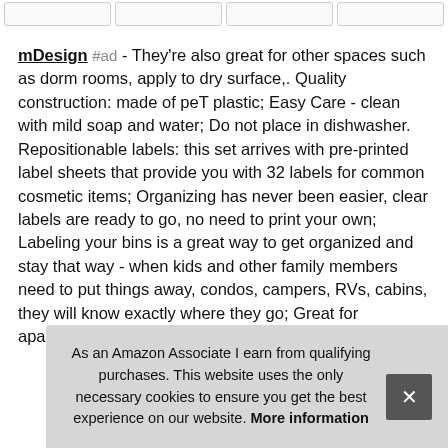[Figure (screenshot): Top strip of product image thumbnails with rounded borders]
mDesign #ad - They're also great for other spaces such as dorm rooms, apply to dry surface,. Quality construction: made of peT plastic; Easy Care - clean with mild soap and water; Do not place in dishwasher. Repositionable labels: this set arrives with pre-printed label sheets that provide you with 32 labels for common cosmetic items; Organizing has never been easier, clear labels are ready to go, no need to print your own; Labeling your bins is a great way to get organized and stay that way - when kids and other family members need to put things away, condos, campers, RVs, cabins, they will know exactly where they go; Great for apartments, dorms, boats and tiny homes
As an Amazon Associate I earn from qualifying purchases. This website uses the only necessary cookies to ensure you get the best experience on our website. More information